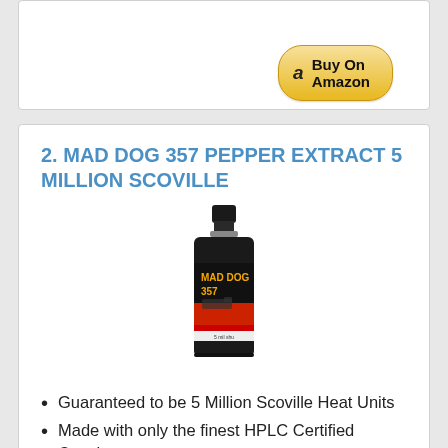[Figure (other): Amazon Buy On Amazon button with Amazon logo]
2. MAD DOG 357 PEPPER EXTRACT 5 MILLION SCOVILLE
[Figure (photo): A small dark bottle of Mad Dog 357 pepper extract with label showing gun imagery and Mad Dog 357 branding]
Guaranteed to be 5 Million Scoville Heat Units
Made with only the finest HPLC Certified Capsicum